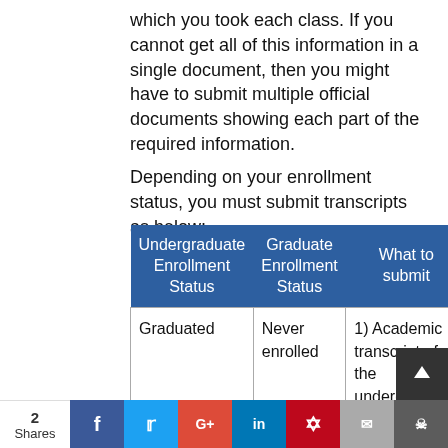which you took each class. If you cannot get all of this information in a single document, then you might have to submit multiple official documents showing each part of the required information.
Depending on your enrollment status, you must submit transcripts as below:
| Undergraduate Enrollment Status | Graduate Enrollment Status | What to submit |
| --- | --- | --- |
| Graduated | Never enrolled | 1) Academic transcript of the undergraduate program |
2 Shares  f  t  G+  in  P  mail  bookmark